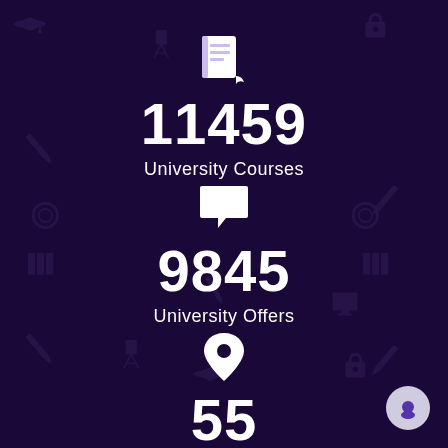[Figure (infographic): Book/notebook icon above stat]
11459
University Courses
[Figure (infographic): Speech bubble / chat icon above stat]
9845
University Offers
[Figure (infographic): Location pin icon above stat]
55